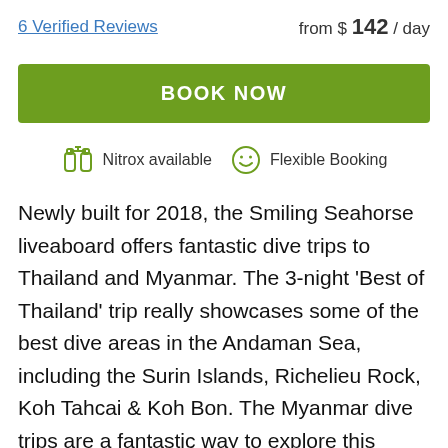6 Verified Reviews
from $ 142 / day
BOOK NOW
Nitrox available   Flexible Booking
Newly built for 2018, the Smiling Seahorse liveaboard offers fantastic dive trips to Thailand and Myanmar. The 3-night 'Best of Thailand' trip really showcases some of the best dive areas in the Andaman Sea, including the Surin Islands, Richelieu Rock, Koh Tahcai & Koh Bon. The Myanmar dive trips are a fantastic way to explore this newly opened dive area, and to get up close with manta rays, eagle rays, mobula rays, leopard sharks and cool macro critters such as frogfish, seahorses and